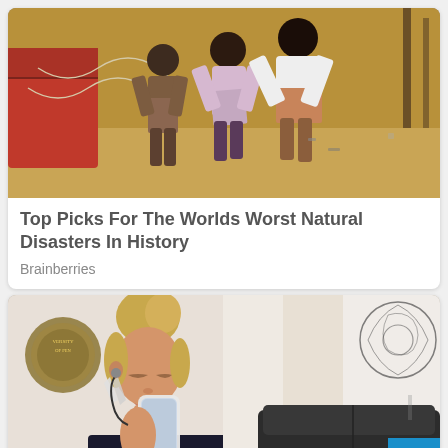[Figure (photo): People pushing a fishing boat on a sandy beach, with fishing nets and a red boat hull visible]
Top Picks For The Worlds Worst Natural Disasters In History
Brainberries
[Figure (photo): A blonde woman looking down at her phone, with a university seal on the wall and a dark sofa in the background]